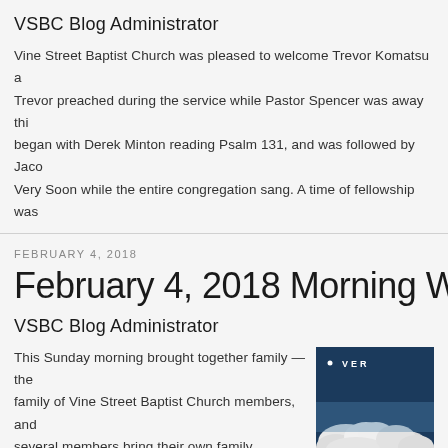VSBC Blog Administrator
Vine Street Baptist Church was pleased to welcome Trevor Komatsu a Trevor preached during the service while Pastor Spencer was away thi began with Derek Minton reading Psalm 131, and was followed by Jaco Very Soon while the entire congregation sang. A time of fellowship was
FEBRUARY 4, 2018
February 4, 2018 Morning Wor
VSBC Blog Administrator
This Sunday morning brought together family — the family of Vine Street Baptist Church members, and several members bring their own family members as guests. All were warmly welcomed to praise the Lord
[Figure (photo): Photo with dark blue background showing clouds and text 'VER']